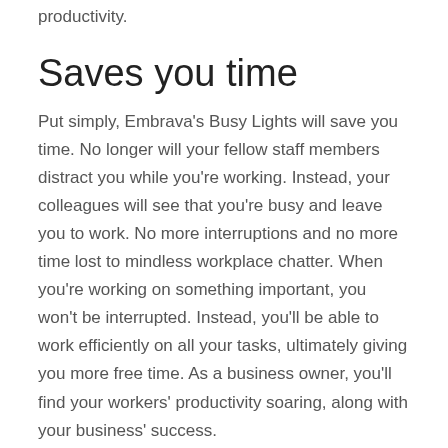productivity.
Saves you time
Put simply, Embrava's Busy Lights will save you time. No longer will your fellow staff members distract you while you're working. Instead, your colleagues will see that you're busy and leave you to work. No more interruptions and no more time lost to mindless workplace chatter. When you're working on something important, you won't be interrupted. Instead, you'll be able to work efficiently on all your tasks, ultimately giving you more free time. As a business owner, you'll find your workers' productivity soaring, along with your business' success.